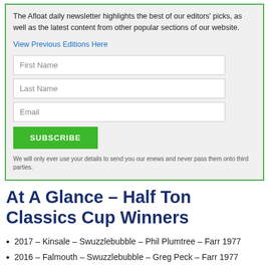The Afloat daily newsletter highlights the best of our editors' picks, as well as the latest content from other popular sections of our website.
View Previous Editions Here
First Name
Last Name
Email
SUBSCRIBE
We will only ever use your details to send you our enews and never pass them onto third parties.
At A Glance – Half Ton Classics Cup Winners
2017 – Kinsale – Swuzzlebubble – Phil Plumtree – Farr 1977
2016 – Falmouth – Swuzzlebubble – Greg Peck – Farr 1977
2015 – Nieuwport – Checkmate XV – David Cullen – Humphreys 1985
2014 – St Quay Portrieux – Swuzzlebubble – Peter Morton